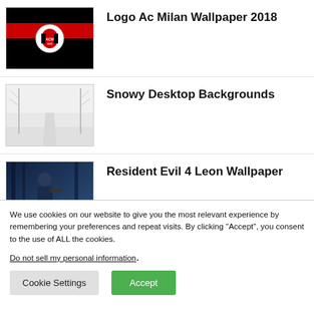[Figure (photo): AC Milan logo wallpaper thumbnail with black background and red stripe]
Logo Ac Milan Wallpaper 2018
[Figure (photo): Snowy winter tree-lined path desktop background thumbnail]
Snowy Desktop Backgrounds
[Figure (photo): Resident Evil 4 Leon character wallpaper thumbnail with blue tones]
Resident Evil 4 Leon Wallpaper
We use cookies on our website to give you the most relevant experience by remembering your preferences and repeat visits. By clicking “Accept”, you consent to the use of ALL the cookies.
Do not sell my personal information.